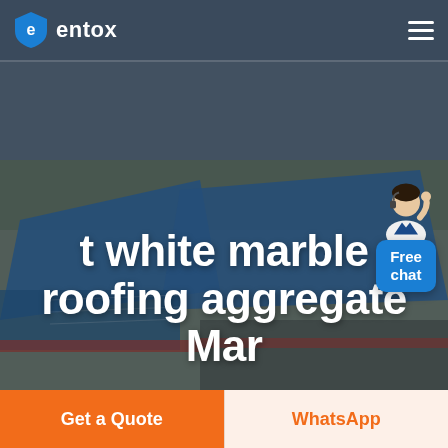entox
[Figure (screenshot): Aerial view of an industrial facility with blue rooftops, open land around it, dark overlay. Hero background image for a roofing aggregate product page.]
t white marble roofing aggregate Mar
[Figure (illustration): Customer service representative figure (person in white shirt with headset) above a blue rounded-rectangle button reading 'Free chat']
Get a Quote
WhatsApp